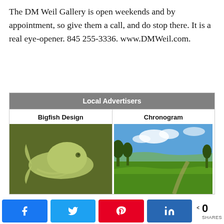The DM Weil Gallery is open weekends and by appointment, so give them a call, and do stop there. It is a real eye-opener.  845 255-3336.  www.DMWeil.com.
Local Advertisers
| Bigfish Design | Chronogram |
| --- | --- |
| [Bigfish Design logo image] | [Chronogram landscape photo] |
[Figure (logo): Bigfish Design logo — olive green background with a stylized fish/oval shape in sage green]
[Figure (photo): Chronogram — outdoor landscape photo showing green fields under a blue sky with trees]
Facebook share | Twitter share | Pinterest share | LinkedIn share | 0 SHARES